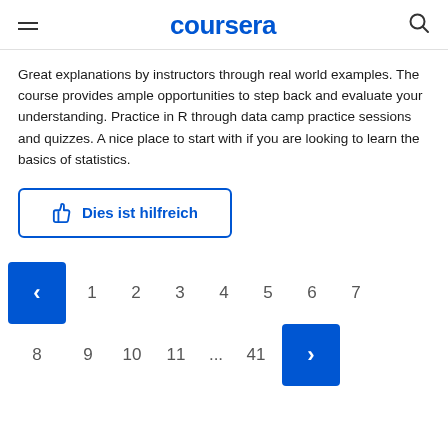coursera
Great explanations by instructors through real world examples. The course provides ample opportunities to step back and evaluate your understanding. Practice in R through data camp practice sessions and quizzes. A nice place to start with if you are looking to learn the basics of statistics.
Dies ist hilfreich
< 1 2 3 4 5 6 7
8 9 10 11 ... 41 >